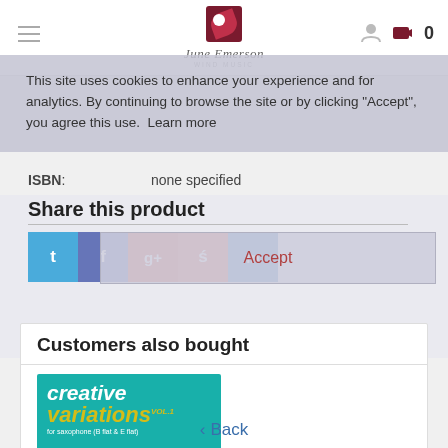June Emerson Wind Music — navigation bar with logo and cart (0)
This site uses cookies to enhance your experience and for analytics. By continuing to browse the site or by clicking "Accept", you agree this use. Learn more
ISBN: none specified
Share this product
[Figure (infographic): Social share buttons: Twitter, Facebook, Google+, StumbleUpon, LinkedIn]
Accept
Customers also bought
[Figure (photo): Creative Variations Vol.1 book cover for saxophone in Bb flat & Eb flat]
< Back